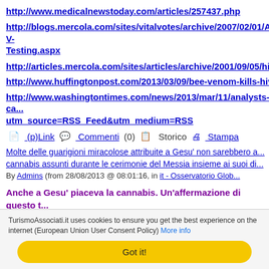http://www.medicalnewstoday.com/articles/257437.php
http://blogs.mercola.com/sites/vitalvotes/archive/2007/02/01/A-V-Testing.aspx
http://articles.mercola.com/sites/articles/archive/2001/09/05/hiv-...
http://www.huffingtonpost.com/2013/03/09/bee-venom-kills-hiv-...
http://www.washingtontimes.com/news/2013/mar/11/analysts-ca... utm_source=RSS_Feed&utm_medium=RSS
(p)Link   Commenti (0)   Storico   Stampa
Molte delle guarigioni miracolose attribuite a Gesu' non sarebbero a... cannabis assunti durante le cerimonie del Messia insieme ai suoi di...
By Admins (from 28/08/2013 @ 08:01:16, in it - Osservatorio Glob...
Anche a Gesu' piaceva la cannabis. Un'affermazione di questo t... fare gridare alla blasfemia qualcun altro se non fosse il risultato...
TurismoAssociati.it uses cookies to ensure you get the best experience on the internet (European Union User Consent Policy) More info
Got it!